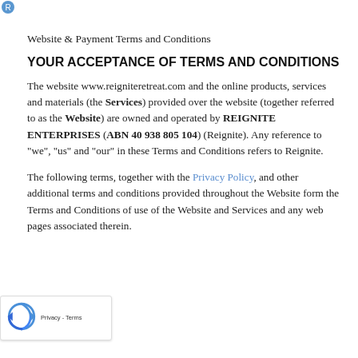Website & Payment Terms and Conditions
YOUR ACCEPTANCE OF TERMS AND CONDITIONS
The website www.reigniteretreat.com and the online products, services and materials (the Services) provided over the website (together referred to as the Website) are owned and operated by REIGNITE ENTERPRISES (ABN 40 938 805 104) (Reignite). Any reference to "we", "us" and "our" in these Terms and Conditions refers to Reignite.
The following terms, together with the Privacy Policy, and other additional terms and conditions provided throughout the Website form the Terms and Conditions of use of the Website and Services and any web pages associated therein.